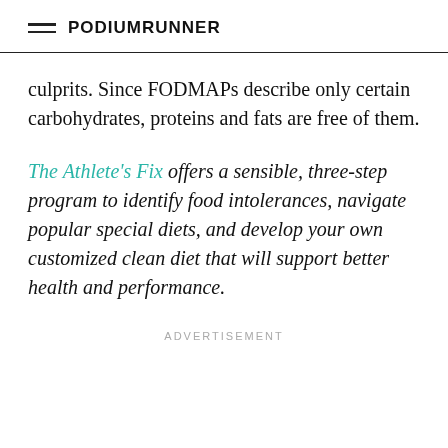PodiumRunner
culprits. Since FODMAPs describe only certain carbohydrates, proteins and fats are free of them.
The Athlete's Fix offers a sensible, three-step program to identify food intolerances, navigate popular special diets, and develop your own customized clean diet that will support better health and performance.
ADVERTISEMENT